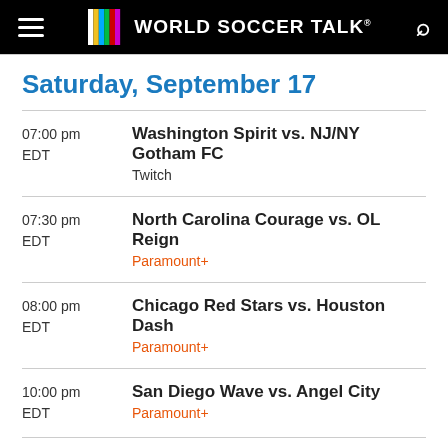World Soccer Talk
Saturday, September 17
07:00 pm EDT — Washington Spirit vs. NJ/NY Gotham FC — Twitch
07:30 pm EDT — North Carolina Courage vs. OL Reign — Paramount+
08:00 pm EDT — Chicago Red Stars vs. Houston Dash — Paramount+
10:00 pm EDT — San Diego Wave vs. Angel City — Paramount+